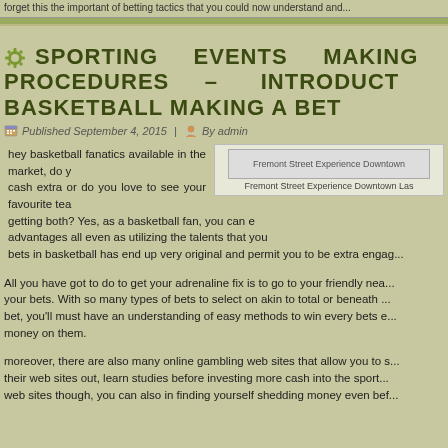forget this the important of betting tactics that you could now understand and...
SPORTING EVENTS MAKING PROCEDURES – INTRODUCTION BASKETBALL MAKING A BET
Published September 4, 2015 | By admin
[Figure (photo): Fremont Street Experience Downtown Las Vegas image with caption 'Fremont Street Experience Downtown Las']
hey basketball fanatics available in the market, do you want to earn cash extra or do you love to see your favourite team win, how about getting both? Yes, as a basketball fan, you can enjoy both advantages all even as utilizing the talents that you bets in basketball has end up very original and permit you to be extra engag...
All you have got to do to get your adrenaline fix is to go to your friendly nea... your bets. With so many types of bets to select on akin to total or beneath ... bet, you'll must have an understanding of easy methods to win every bets e... money on them.
moreover, there are also many online gambling web sites that allow you to s... their web sites out, learn studies before investing more cash into the sport... web sites though, you can also in finding yourself shedding money even bef...